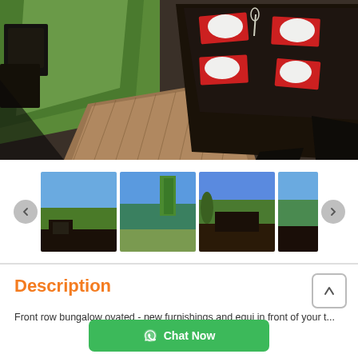[Figure (photo): Outdoor dining area with dark chairs and a set table on a wooden deck surrounded by green lawn, viewed from above]
[Figure (photo): Thumbnail gallery strip showing 4 outdoor property photos with navigation arrows]
Description
Front row bungalow renovated - new furnishings and equip... in front of your t...
[Figure (screenshot): Green Chat Now button with WhatsApp icon overlay]